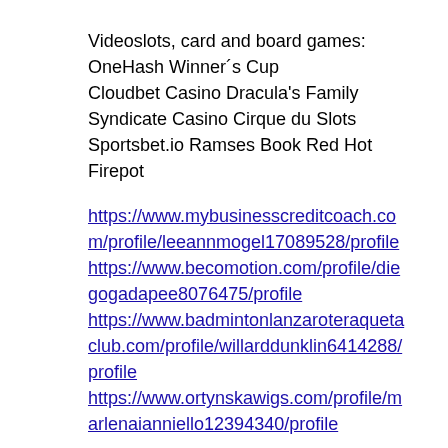Videoslots, card and board games:
OneHash Winner´s Cup
Cloudbet Casino Dracula's Family
Syndicate Casino Cirque du Slots
Sportsbet.io Ramses Book Red Hot Firepot
https://www.mybusinesscreditcoach.com/profile/leeannmogel17089528/profile
https://www.becomotion.com/profile/diegogadapee8076475/profile
https://www.badmintonlanzaroteraquetaclub.com/profile/willarddunklin6414288/profile
https://www.ortynskawigs.com/profile/marlenaianniello12394340/profile